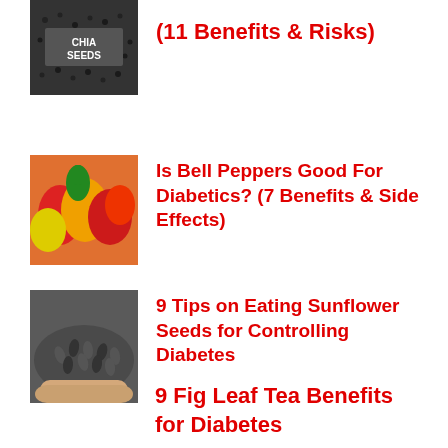[Figure (photo): Bowl of chia seeds with text 'CHIA SEEDS' visible]
(11 Benefits & Risks)
[Figure (photo): Colorful bell peppers - red, yellow, orange]
Is Bell Peppers Good For Diabetics? (7 Benefits & Side Effects)
[Figure (photo): Handful of sunflower seeds]
9 Tips on Eating Sunflower Seeds for Controlling Diabetes
9 Fig Leaf Tea Benefits for Diabetes